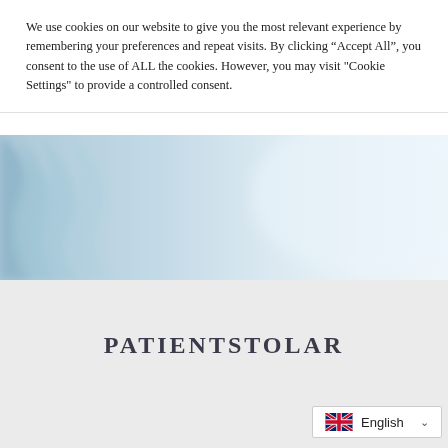We use cookies on our website to give you the most relevant experience by remembering your preferences and repeat visits. By clicking “Accept All”, you consent to the use of ALL the cookies. However, you may visit "Cookie Settings" to provide a controlled consent.
[Figure (photo): Blurred light blue and white hospital/medical background image, appears to show draped fabric or curtain in soft focus]
PATIENTSTOLAR
[Figure (other): Language selector widget showing UK flag and 'English' with a dropdown chevron]